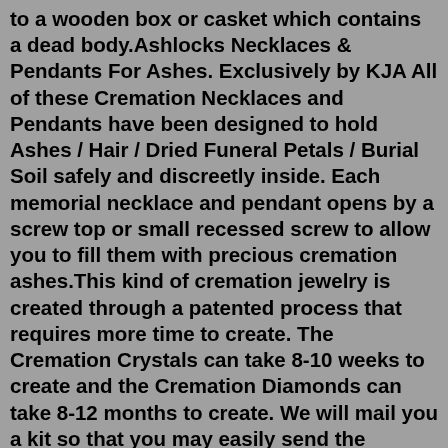to a wooden box or casket which contains a dead body.Ashlocks Necklaces & Pendants For Ashes. Exclusively by KJA All of these Cremation Necklaces and Pendants have been designed to hold Ashes / Hair / Dried Funeral Petals / Burial Soil safely and discreetly inside. Each memorial necklace and pendant opens by a screw top or small recessed screw to allow you to fill them with precious cremation ashes.This kind of cremation jewelry is created through a patented process that requires more time to create. The Cremation Crystals can take 8-10 weeks to create and the Cremation Diamonds can take 8-12 months to create. We will mail you a kit so that you may easily send the required amount of ashes directly to the artist. In southeast England about 7,600 years ago, researchers think the survivors of a dead person burned the body in a very hot fire. This is the first case of cremation archaeologists have found from the Mesolithic period in Britain. "Burnt material, including 118g (4 ounces) of cremated bone, was placed into a pit with a diameter of about a